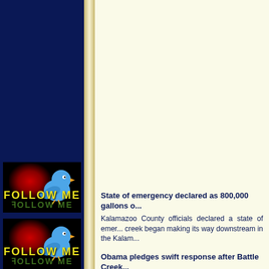[Figure (illustration): Twitter 'Follow Me' button graphic with blue bird, red glow triangle on black background, first instance]
[Figure (illustration): Twitter 'Follow Me' button graphic with blue bird, red glow triangle on black background, second instance]
State of emergency declared as 800,000 gallons o...
Kalamazoo County officials declared a state of emer... creek began making its way downstream in the Kalam...
Obama pledges swift response after Battle Creek...
The cause of spill is under investigation. The oil spill... site is in Calhoun County's Marshall Township, about...
"According to EPA officials, this is the largest oil spil... (spilled).... This feels like déjÀ vu all over again with...